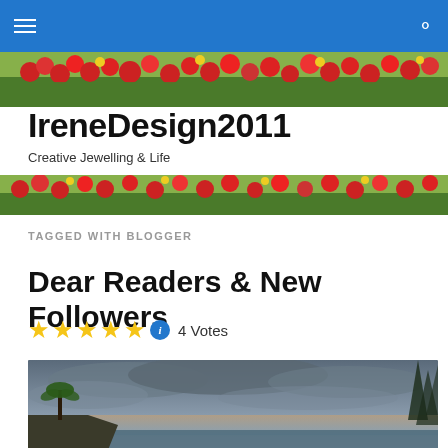IreneDesign2011 navigation bar
[Figure (photo): Flower field banner image with red poppies and green foliage — top]
IreneDesign2011
Creative Jewelling & Life
[Figure (photo): Flower field banner image with red poppies and green foliage — middle]
TAGGED WITH BLOGGER
Dear Readers & New Followers
4 Votes
[Figure (photo): Coastal landscape photo with dramatic cloudy sky at dusk, rocky cliffs with palm tree on the left, ocean in the background, trees on the right]